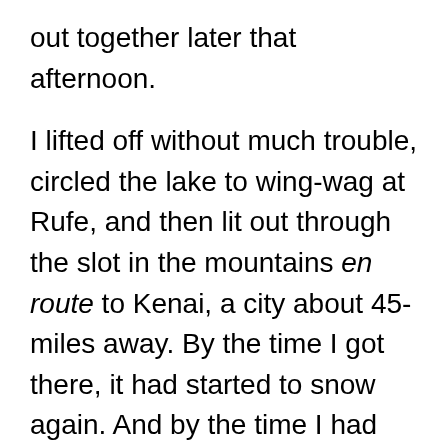out together later that afternoon.
I lifted off without much trouble, circled the lake to wing-wag at Rufe, and then lit out through the slot in the mountains en route to Kenai, a city about 45-miles away. By the time I got there, it had started to snow again. And by the time I had secured a few quick hamburgers, bought a big thermos and filled it with hot coffee, advised the authorities that we really needed no assistance, and was ready to head back toward the lake, the weather had deteriorated to the point that I had to request a Special VFR clearance for